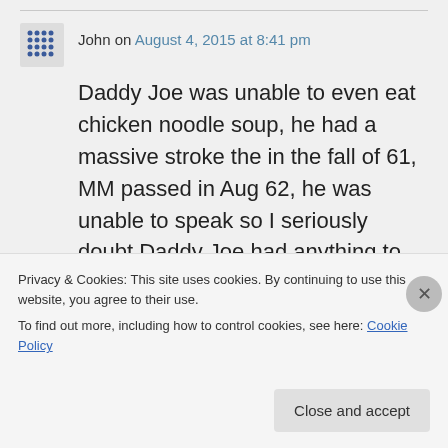John on August 4, 2015 at 8:41 pm
Daddy Joe was unable to even eat chicken noodle soup, he had a massive stroke the in the fall of 61, MM passed in Aug 62, he was unable to speak so I seriously doubt Daddy Joe had anything to do with MM passing
Privacy & Cookies: This site uses cookies. By continuing to use this website, you agree to their use.
To find out more, including how to control cookies, see here: Cookie Policy